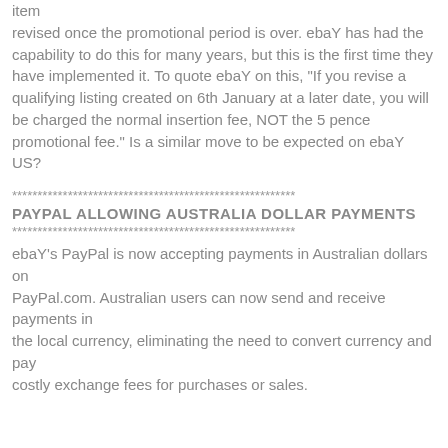item revised once the promotional period is over. ebaY has had the capability to do this for many years, but this is the first time they have implemented it. To quote ebaY on this, "If you revise a qualifying listing created on 6th January at a later date, you will be charged the normal insertion fee, NOT the 5 pence promotional fee." Is a similar move to be expected on ebaY US?
********************************************************
PAYPAL ALLOWING AUSTRALIA DOLLAR PAYMENTS
********************************************************
ebaY's PayPal is now accepting payments in Australian dollars on PayPal.com. Australian users can now send and receive payments in the local currency, eliminating the need to convert currency and pay costly exchange fees for purchases or sales.